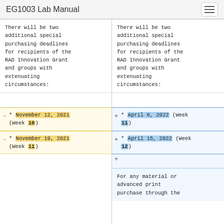EG1003 Lab Manual
There will be two additional special purchasing deadlines for recipients of the RAD Innovation Grant and groups with extenuating circumstances:
There will be two additional special purchasing deadlines for recipients of the RAD Innovation Grant and groups with extenuating circumstances:
* November 12, 2021 (Week 10)
* April 8, 2022 (Week 11)
* November 19, 2021 (Week 11)
* April 15, 2022 (Week 12)
For any material or advanced print purchase through the